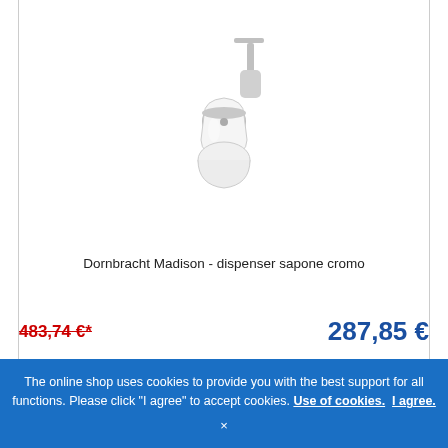[Figure (photo): Wall-mounted chrome soap dispenser with white ceramic container and chrome pump head]
Dornbracht Madison - dispenser sapone cromo
483,74 €*
287,85 €
Delivery time:  circa 1-2 settimane
The online shop uses cookies to provide you with the best support for all functions. Please click "I agree" to accept cookies. Use of cookies.  I agree.